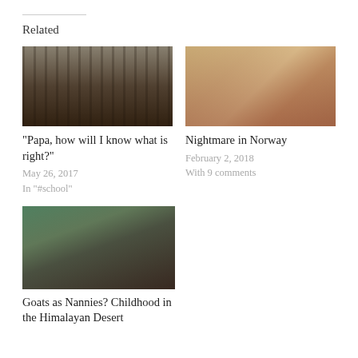Related
[Figure (photo): Black and white photograph of a forest with tall trees and a figure walking]
“Papa, how will I know what is right?”
May 26, 2017
In "#school"
[Figure (photo): Color selfie photo of a woman with two children indoors]
Nightmare in Norway
February 2, 2018
With 9 comments
[Figure (photo): Color photo of children in a tent or makeshift shelter]
Goats as Nannies? Childhood in the Himalayan Desert